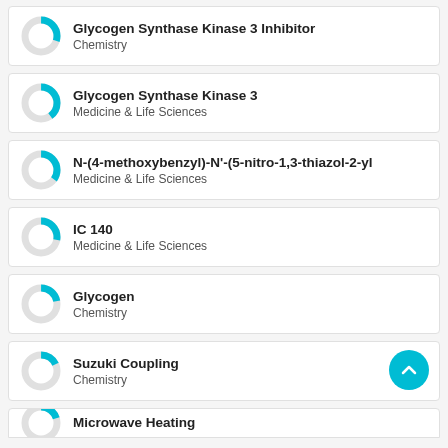Glycogen Synthase Kinase 3 Inhibitor
Chemistry
Glycogen Synthase Kinase 3
Medicine & Life Sciences
N-(4-methoxybenzyl)-N'-(5-nitro-1,3-thiazol-2-yl...
Medicine & Life Sciences
IC 140
Medicine & Life Sciences
Glycogen
Chemistry
Suzuki Coupling
Chemistry
Microwave Heating